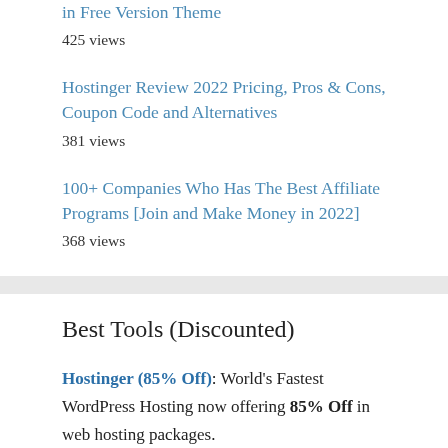in Free Version Theme
425 views
Hostinger Review 2022 Pricing, Pros & Cons, Coupon Code and Alternatives
381 views
100+ Companies Who Has The Best Affiliate Programs [Join and Make Money in 2022]
368 views
Best Tools (Discounted)
Hostinger (85% Off): World's Fastest WordPress Hosting now offering 85% Off in web hosting packages.